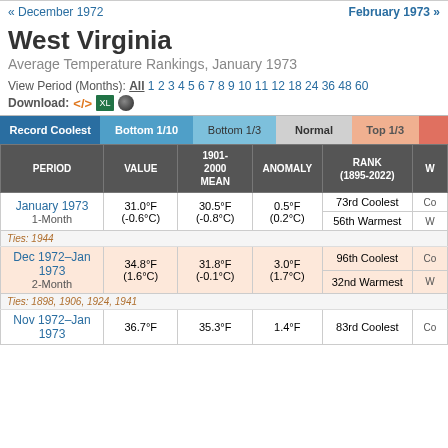« December 1972    February 1973 »
West Virginia
Average Temperature Rankings, January 1973
View Period (Months): All 1 2 3 4 5 6 7 8 9 10 11 12 18 24 36 48 60
Download: <> [xls] [circle]
| PERIOD | VALUE | 1901-2000 MEAN | ANOMALY | RANK (1895-2022) | W |
| --- | --- | --- | --- | --- | --- |
| January 1973 / 1-Month | 31.0°F (-0.6°C) | 30.5°F (-0.8°C) | 0.5°F (0.2°C) | 73rd Coolest / 56th Warmest | Co / W |
| Ties: 1944 |  |  |  |  |  |
| Dec 1972–Jan 1973 / 2-Month | 34.8°F (1.6°C) | 31.8°F (-0.1°C) | 3.0°F (1.7°C) | 96th Coolest / 32nd Warmest | Co / W |
| Ties: 1898, 1906, 1924, 1941 |  |  |  |  |  |
| Nov 1972–Jan 1973 | 36.7°F | 35.3°F | 1.4°F | 83rd Coolest | Co |